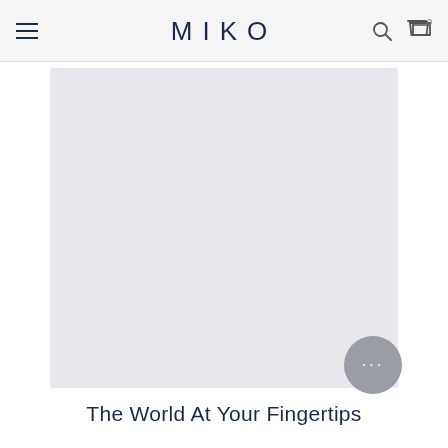MIKO
[Figure (photo): Large product/hero image placeholder with light gray background]
The World At Your Fingertips